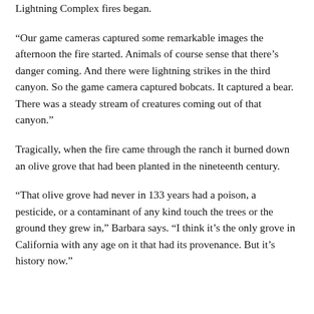Lightning Complex fires began.
“Our game cameras captured some remarkable images the afternoon the fire started. Animals of course sense that there’s danger coming. And there were lightning strikes in the third canyon. So the game camera captured bobcats. It captured a bear. There was a steady stream of creatures coming out of that canyon.”
Tragically, when the fire came through the ranch it burned down an olive grove that had been planted in the nineteenth century.
“That olive grove had never in 133 years had a poison, a pesticide, or a contaminant of any kind touch the trees or the ground they grew in,” Barbara says. “I think it’s the only grove in California with any age on it that had its provenance. But it’s history now.”